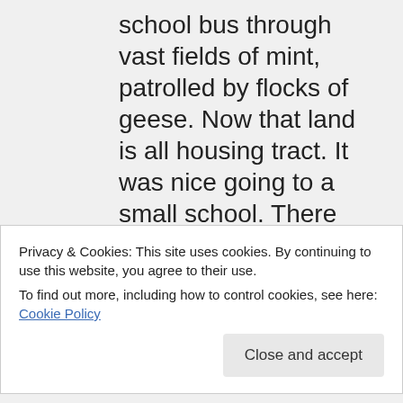school bus through vast fields of mint, patrolled by flocks of geese. Now that land is all housing tract. It was nice going to a small school. There was so much stuff I got to do that I never would have had the opportunity to do at
Privacy & Cookies: This site uses cookies. By continuing to use this website, you agree to their use. To find out more, including how to control cookies, see here: Cookie Policy
I left home on my